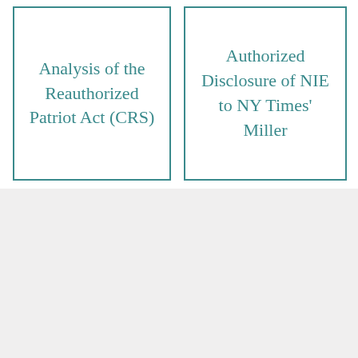Analysis of the Reauthorized Patriot Act (CRS)
Authorized Disclosure of NIE to NY Times' Miller